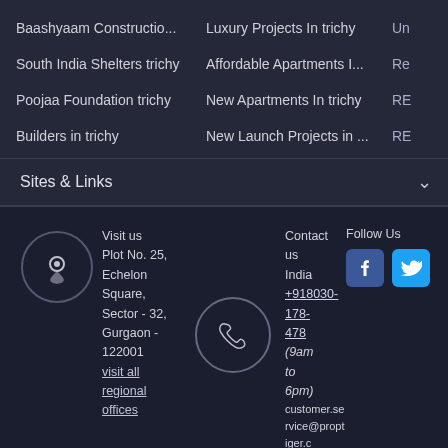Baashyaam Constructio...
Luxury Projects In trichy
Un
South India Shelters trichy
Affordable Apartments I...
Re
Poojaa Foundation trichy
New Apartments In trichy
RE
Builders in trichy
New Launch Projects in ...
RE
Sites & Links
Visit us
Plot No. 25, Echelon Square, Sector - 32, Gurgaon - 122001
visit all regional offices
Contact us
India +918030-178-478
(9am to 6pm)
customer.service@proptiger.c
Follow Us
Copyright © 2022 proptiger.com